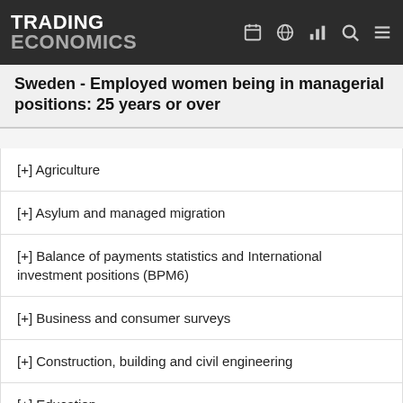TRADING ECONOMICS
Sweden - Employed women being in managerial positions: 25 years or over
[+] Agriculture
[+] Asylum and managed migration
[+] Balance of payments statistics and International investment positions (BPM6)
[+] Business and consumer surveys
[+] Construction, building and civil engineering
[+] Education
[+] Electronic solutions